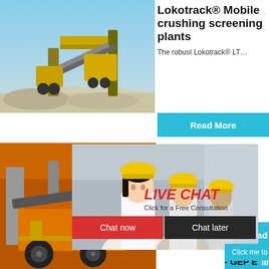[Figure (photo): Mining/crushing plant with yellow machinery and gravel piles against a blue sky]
Lokotrack® Mobile crushing screening plants
The robust Lokotrack® LT…
Read More
[Figure (photo): Workers in yellow hard hats, with live chat overlay showing LIVE CHAT and Click for a Free Consultation]
LIVE CHAT
Click for a Free Consultation
hour online
Chat now
Chat later
[Figure (photo): Orange industrial crushing/screening machine at a site]
Mobile
- GEP E
2021-11-
[Figure (photo): Industrial crusher machine, grey/white with red wheel]
Click me to chat>>
Read
Enquiry
limingjlmofen